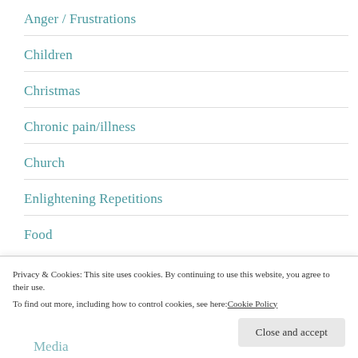Anger / Frustrations
Children
Christmas
Chronic pain/illness
Church
Enlightening Repetitions
Food
Privacy & Cookies: This site uses cookies. By continuing to use this website, you agree to their use.
To find out more, including how to control cookies, see here: Cookie Policy
Close and accept